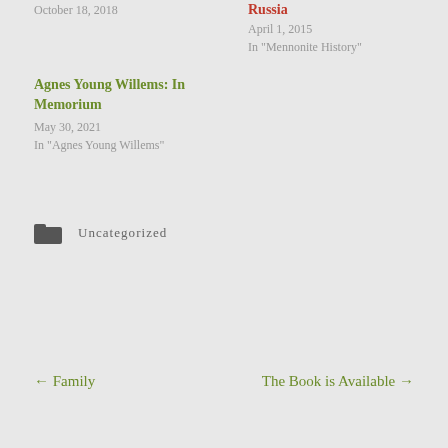October 18, 2018
Russia
April 1, 2015
In "Mennonite History"
Agnes Young Willems: In Memorium
May 30, 2021
In "Agnes Young Willems"
Uncategorized
← Family
The Book is Available →